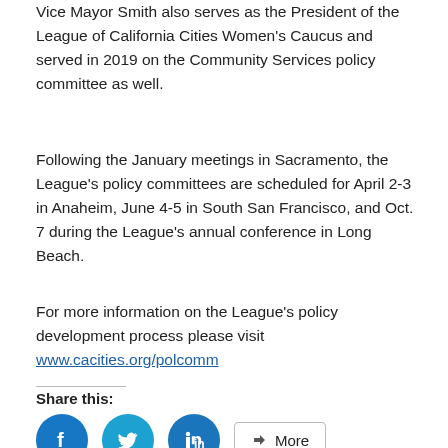Vice Mayor Smith also serves as the President of the League of California Cities Women's Caucus and served in 2019 on the Community Services policy committee as well.
Following the January meetings in Sacramento, the League's policy committees are scheduled for April 2-3 in Anaheim, June 4-5 in South San Francisco, and Oct. 7 during the League's annual conference in Long Beach.
For more information on the League's policy development process please visit www.cacities.org/polcomm
Share this:
[Figure (infographic): Social share buttons: Facebook circle icon, Twitter circle icon, LinkedIn circle icon, and a More button with share icon]